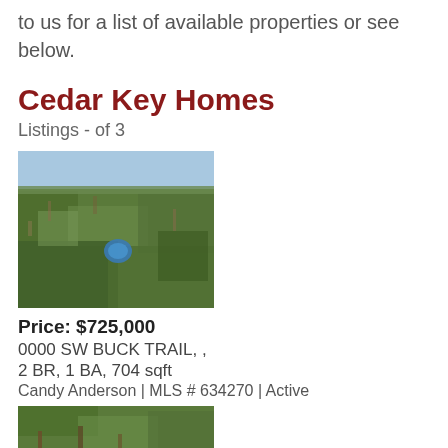to us for a list of available properties or see below.
Cedar Key Homes
Listings - of 3
[Figure (photo): Aerial view of forested land with a small blue pond/sinkhole visible in the center, dense tree canopy, Cedar Key area property.]
Price: $725,000
0000 SW BUCK TRAIL, ,
2 BR, 1 BA, 704 sqft
Candy Anderson | MLS # 634270 | Active
[Figure (photo): Partial view of a second property listing photo showing green trees/vegetation.]